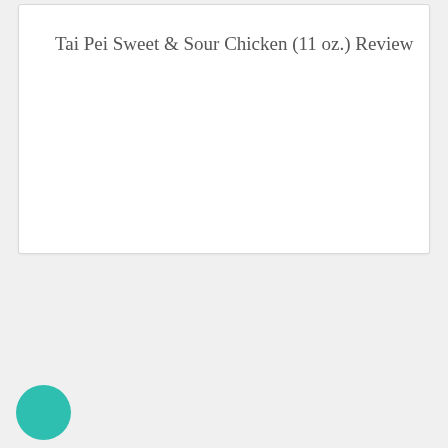Tai Pei Sweet & Sour Chicken (11 oz.) Review